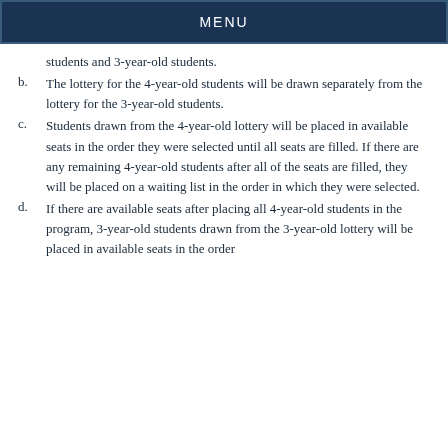MENU
students and 3-year-old students.
b. The lottery for the 4-year-old students will be drawn separately from the lottery for the 3-year-old students.
c. Students drawn from the 4-year-old lottery will be placed in available seats in the order they were selected until all seats are filled. If there are any remaining 4-year-old students after all of the seats are filled, they will be placed on a waiting list in the order in which they were selected.
d. If there are available seats after placing all 4-year-old students in the program, 3-year-old students drawn from the 3-year-old lottery will be placed in available seats in the order